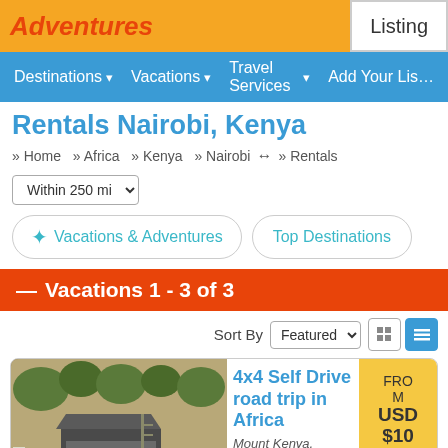Adventures — Listing
Destinations ▾  Vacations ▾  Travel Services ▾  Add Your Listing
Rentals Nairobi, Kenya
» Home  » Africa  » Kenya  » Nairobi  ↔  » Rentals
Within 250 mi ▾
✦ Vacations & Adventures
Top Destinations
— Vacations 1 - 3 of 3
Sort By Featured
4x4 Self Drive road trip in Africa
Mount Kenya,
FROM USD $100 PER